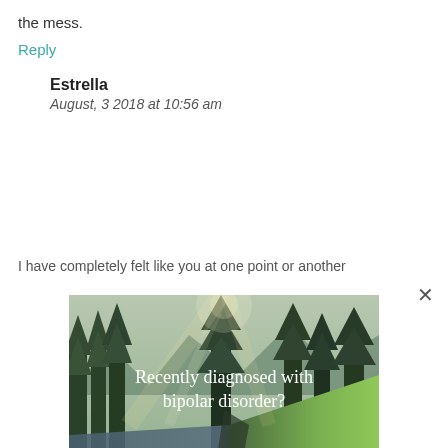the mess.
Reply
Estrella
August, 3 2018 at 10:56 am
I have completely felt like you at one point or another
[Figure (photo): Advertisement image showing a forest and river landscape with text overlay reading 'Recently diagnosed with bipolar disorder? DOWNLOAD OUR FREE EBOOK NOW.' with a white underline]
advertisement